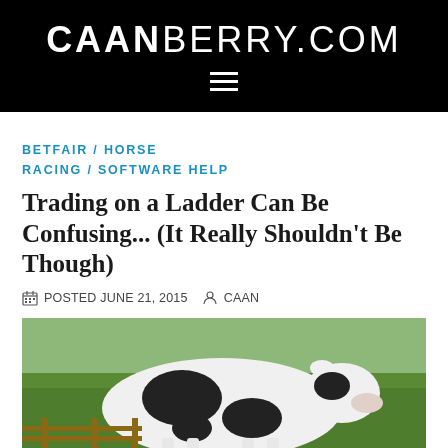CAANBERRY.COM
BETFAIR / HORSE RACING / SOFTWARE HELP
Trading on a Ladder Can Be Confusing... (It Really Shouldn't Be Though)
POSTED JUNE 21, 2015  CAAN
[Figure (photo): Photo of a black and white cow in a green field]